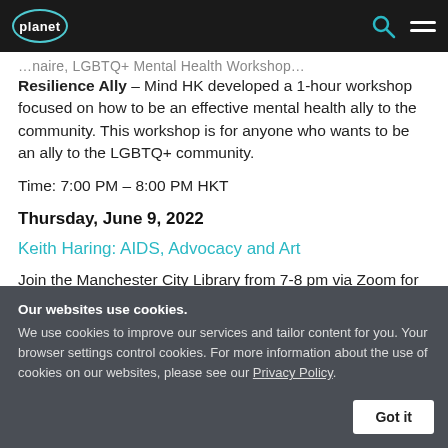planet
Resilience Ally – Mind HK developed a 1-hour workshop focused on how to be an effective mental health ally to the community. This workshop is for anyone who wants to be an ally to the LGBTQ+ community.
Time: 7:00 PM – 8:00 PM HKT
Thursday, June 9, 2022
Keith Haring: AIDS, Advocacy and Art
Join the Manchester City Library from 7-8 pm via Zoom for the fourth installment of their 6-part
Our websites use cookies. We use cookies to improve our services and tailor content for you. Your browser settings control cookies. For more information about the use of cookies on our websites, please see our Privacy Policy.